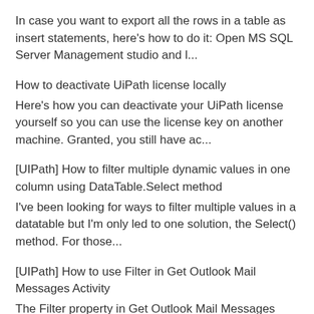In case you want to export all the rows in a table as insert statements, here's how to do it: Open MS SQL Server Management studio and l...
How to deactivate UiPath license locally
Here's how you can deactivate your UiPath license yourself so you can use the license key on another machine. Granted, you still have ac...
[UIPath] How to filter multiple dynamic values in one column using DataTable.Select method
I've been looking for ways to filter multiple values in a datatable but I'm only led to one solution, the Select() method. For those...
[UIPath] How to use Filter in Get Outlook Mail Messages Activity
The Filter property in Get Outlook Mail Messages allows you to set a filter for the messages to be retrieved from the specified mail folder...